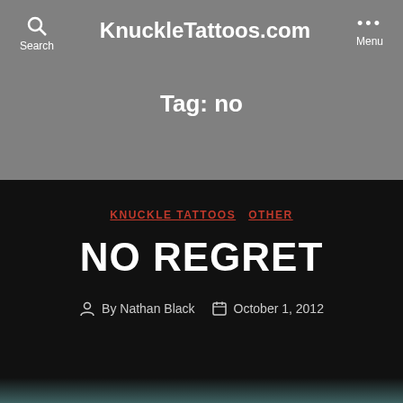KnuckleTattoos.com
Tag: no
KNUCKLE TATTOOS  OTHER
NO REGRET
By Nathan Black  October 1, 2012